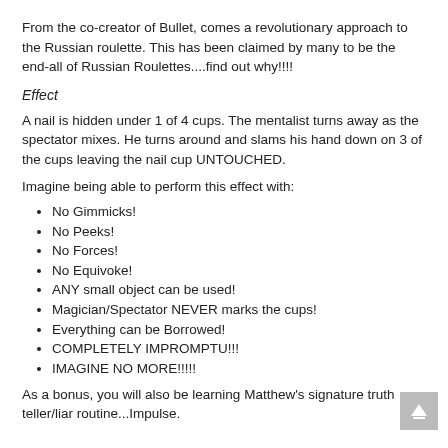From the co-creator of Bullet, comes a revolutionary approach to the Russian roulette. This has been claimed by many to be the end-all of Russian Roulettes....find out why!!!!
Effect
A nail is hidden under 1 of 4 cups. The mentalist turns away as the spectator mixes. He turns around and slams his hand down on 3 of the cups leaving the nail cup UNTOUCHED.
Imagine being able to perform this effect with:
No Gimmicks!
No Peeks!
No Forces!
No Equivoke!
ANY small object can be used!
Magician/Spectator NEVER marks the cups!
Everything can be Borrowed!
COMPLETELY IMPROMPTU!!!
IMAGINE NO MORE!!!!!
As a bonus, you will also be learning Matthew's signature truth teller/liar routine...Impulse.